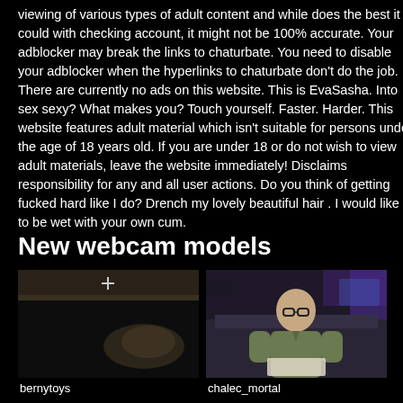viewing of various types of adult content and while does the best it could with checking account, it might not be 100% accurate. Your adblocker may break the links to chaturbate. You need to disable your adblocker when the hyperlinks to chaturbate don't do the job. There are currently no ads on this website. This is EvaSasha. Into sex sexy? What makes you? Touch yourself. Faster. Harder. This website features adult material which isn't suitable for persons under the age of 18 years old. If you are under 18 or do not wish to view adult materials, leave the website immediately! Disclaims responsibility for any and all user actions. Do you think of getting fucked hard like I do? Drench my lovely beautiful hair . I would like to be wet with your own cum.
New webcam models
[Figure (photo): Webcam screenshot labeled bernytoys showing a dark room with a hand visible]
bernytoys
[Figure (photo): Webcam screenshot labeled chalec_mortal showing a man with glasses sitting in a room with purple lighting]
chalec_mortal